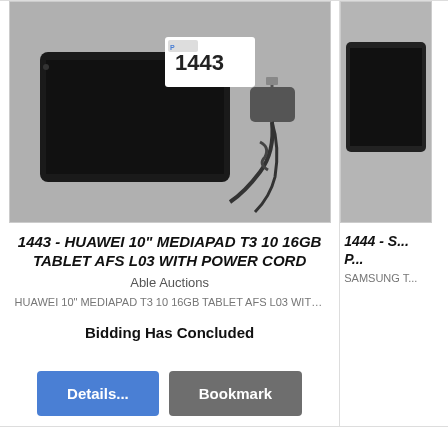[Figure (photo): Huawei 10 inch MediaPad T3 10 tablet with auction tag 1443 and power cord/charger on grey background]
1443 - HUAWEI 10" MEDIAPAD T3 10 16GB TABLET AFS L03 WITH POWER CORD
Able Auctions
HUAWEI 10" MEDIAPAD T3 10 16GB TABLET AFS L03 WITH POWER...
Bidding Has Concluded
Details...
Bookmark
[Figure (photo): Partial view of another auction item (Samsung T...) on right side]
1444 - S... (partial)
SAMSUNG T...